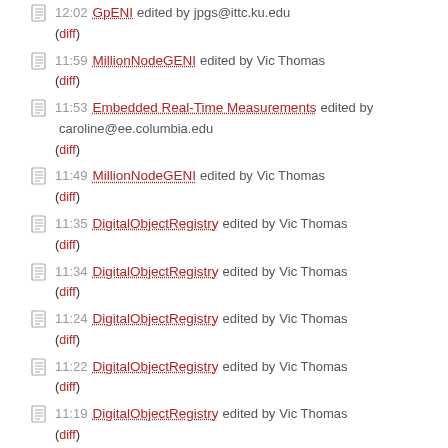12:02 GpENI edited by jpgs@ittc.ku.edu (diff)
11:59 MillionNodeGENI edited by Vic Thomas (diff)
11:53 Embedded Real-Time Measurements edited by caroline@ee.columbia.edu (diff)
11:49 MillionNodeGENI edited by Vic Thomas (diff)
11:35 DigitalObjectRegistry edited by Vic Thomas (diff)
11:34 DigitalObjectRegistry edited by Vic Thomas (diff)
11:24 DigitalObjectRegistry edited by Vic Thomas (diff)
11:22 DigitalObjectRegistry edited by Vic Thomas (diff)
11:19 DigitalObjectRegistry edited by Vic Thomas (diff)
11:19 GpENI edited by jpgs@ittc.ku.edu (diff)
11:10 DigitalObjectRegistry edited by Vic Thomas